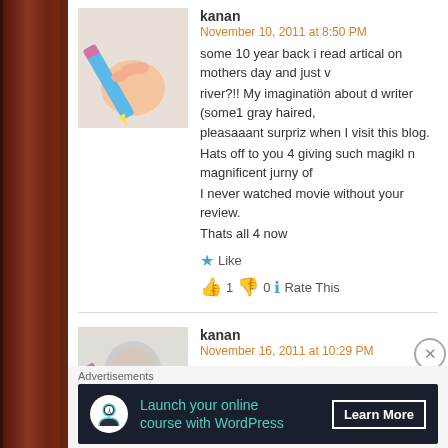[Figure (screenshot): Comment section screenshot showing two comments by 'kanan' with avatar images, text, like buttons, and rating, plus an Advertisements banner at bottom]
kanan
November 10, 2011 at 8:50 PM
some 10 year back i read artical on mothers day and just w river?!! My imaginatiön about d writer (some1 gray haired, pleasaaant surpriz when I visit this blog.
Hats off to you 4 giving such magikl n magnificent jurny of
I never watched movie without your review.
Thats all 4 now
kanan
November 16, 2011 at 10:29 PM
If there is anything like "Collective Thinking" than Mr.writer inspiring this week also
Thanks a lot
Advertisements
Launch your online course with WordPress   Learn More